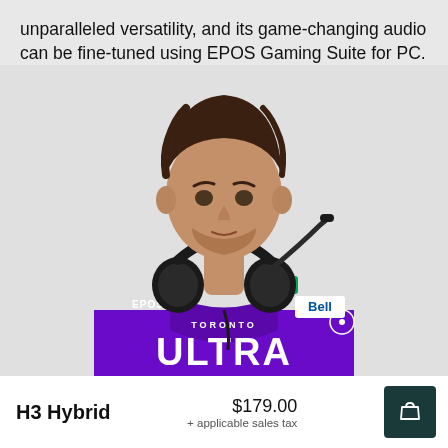unparalleled versatility, and its game-changing audio can be fine-tuned using EPOS Gaming Suite for PC.
[Figure (photo): A man wearing a purple Toronto Ultra esports jersey with EPOS and Bell logos, with a black EPOS gaming headset worn around his neck with a microphone boom, set against a light gray background.]
H3 Hybrid
$179.00 + applicable sales tax